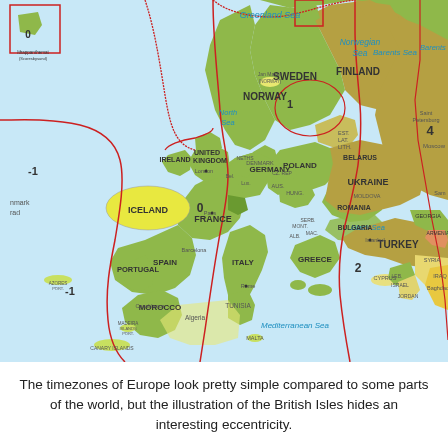[Figure (map): A timezone map of Europe showing countries color-coded by UTC offset. Shows Iceland (0), Jan Mayen/NORWAY (1), Svalbard, United Kingdom, Ireland (-0), France, Spain, Portugal (-1 for Azores), Germany, Poland, Finland, Sweden, Norway, Belarus, Ukraine, Turkey (2), Greece, Italy, Romania, Bulgaria, and surrounding regions. Red lines demarcate timezone boundaries. Seas labeled include Greenland Sea, Barents Sea, Norwegian Sea, North Sea, Black Sea, Mediterranean Sea.]
The timezones of Europe look pretty simple compared to some parts of the world, but the illustration of the British Isles hides an interesting eccentricity.